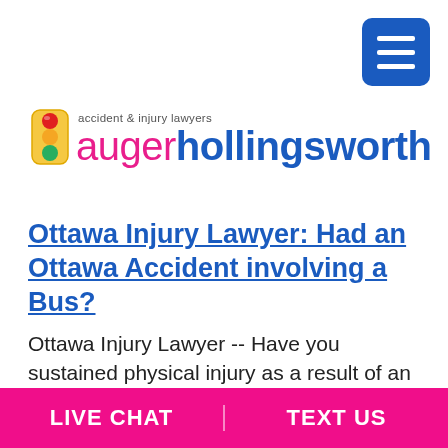[Figure (logo): Auger Hollingsworth accident & injury lawyers logo with traffic light icon]
Ottawa Injury Lawyer: Had an Ottawa Accident involving a Bus?
Ottawa Injury Lawyer -- Have you sustained physical injury as a result of an accident involving an OC Transpo bus? If the bus driver, OC Transpo, or your insurance company refuses to compensate you for these damages, you will need to hire a
LIVE CHAT | TEXT US